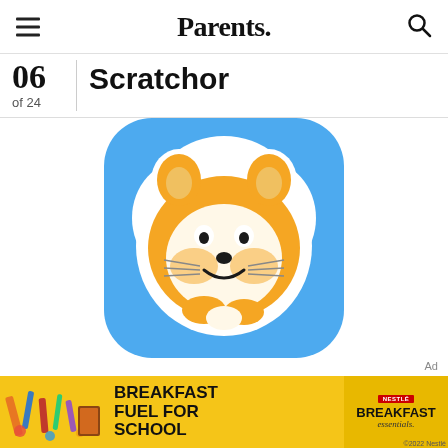Parents.
06 | Scratcher
of 24
[Figure (logo): Scratch app icon — blue rounded square with cartoon orange cat face (Scratch mascot) as a sticker-style illustration with white outline]
Ad
[Figure (photo): Advertisement banner for Nestle Breakfast Essentials — yellow background with school supplies, text reads BREAKFAST FUEL FOR SCHOOL with Breakfast Essentials branding]